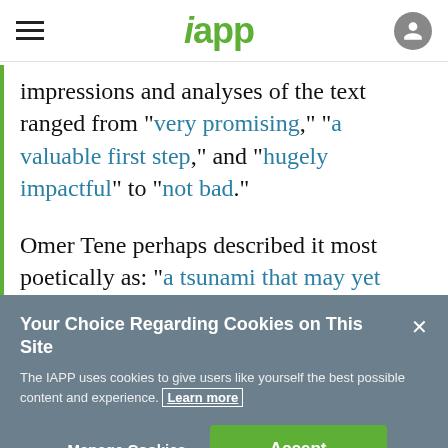iapp
impressions and analyses of the text ranged from “very promising,” “a valuable first step,” and “hugely impactful” to “not bad.”
Omer Tene perhaps described it most poetically as: “a tsunami that may yet
Your Choice Regarding Cookies on This Site
The IAPP uses cookies to give users like yourself the best possible content and experience. Learn more
Manage Cookies   Accept